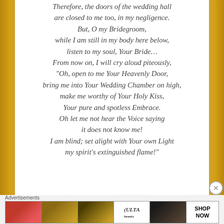Therefore, the doors of the wedding hall are closed to me too, in my negligence. But, O my Bridegroom, while I am still in my body here below, listen to my soul, Your Bride… From now on, I will cry aloud piteously, "Oh, open to me Your Heavenly Door, bring me into Your Wedding Chamber on high, make me worthy of Your Holy Kiss, Your pure and spotless Embrace. Oh let me not hear the Voice saying it does not know me! I am blind; set alight with Your own Light my spirit's extinguished flame!"
Advertisements
[Figure (infographic): ULTA beauty advertisement banner with makeup imagery — lipstick, brush, eye makeup, ULTA Beauty logo, eye closeup, and SHOP NOW call to action]